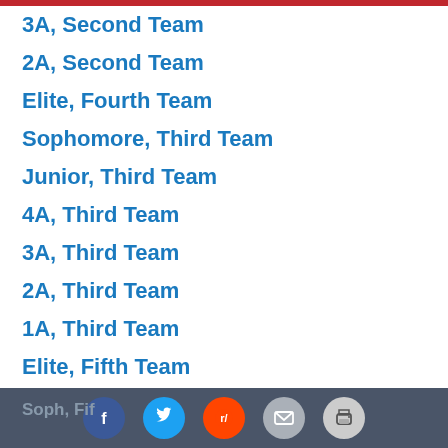3A, Second Team
2A, Second Team
Elite, Fourth Team
Sophomore, Third Team
Junior, Third Team
4A, Third Team
3A, Third Team
2A, Third Team
1A, Third Team
Elite, Fifth Team
Junior, Fourth Team
Soph, Fourth Team
Soph, Fift...ea [social share icons: Facebook, Twitter, Reddit, Email, Print]